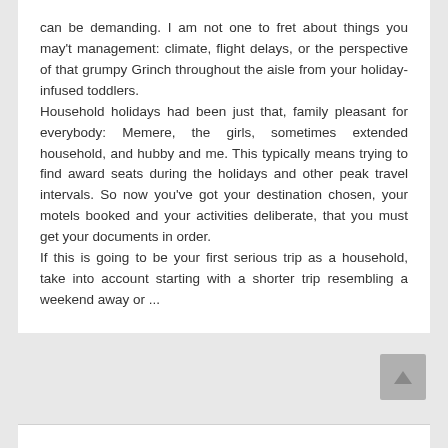can be demanding. I am not one to fret about things you may't management: climate, flight delays, or the perspective of that grumpy Grinch throughout the aisle from your holiday-infused toddlers.
Household holidays had been just that, family pleasant for everybody: Memere, the girls, sometimes extended household, and hubby and me. This typically means trying to find award seats during the holidays and other peak travel intervals. So now you've got your destination chosen, your motels booked and your activities deliberate, that you must get your documents in order.
If this is going to be your first serious trip as a household, take into account starting with a shorter trip resembling a weekend away or ...